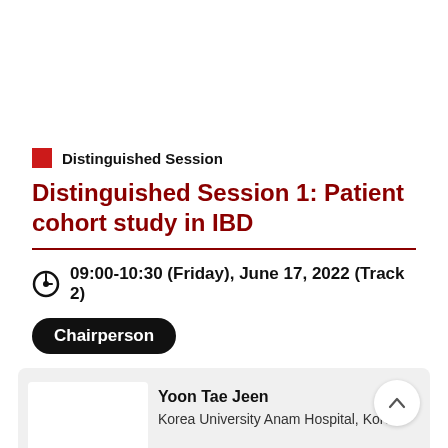Distinguished Session
Distinguished Session 1: Patient cohort study in IBD
09:00-10:30 (Friday), June 17, 2022 (Track 2)
Chairperson
Yoon Tae Jeen
Korea University Anam Hospital, Korea
Now printing